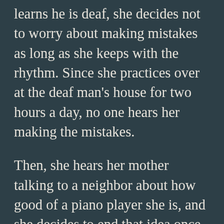Chinese man down the hall. When Jing-Mei learns he is deaf, she decides not to worry about making mistakes as long as she keeps with the rhythm. Since she practices over at the deaf man's house for two hours a day, no one hears her making the mistakes.
Then, she hears her mother talking to a neighbor about how good of a piano player she is, and she decides to end that idea once and for all. When her parents put her in a talent show (by this time, they've saved up enough money to buy her a secondhand piano), she determines that even though the piece they've chosen for her, Pleading Child, is not hard, she will not work to memorize it or practice very hard. At the performance, she